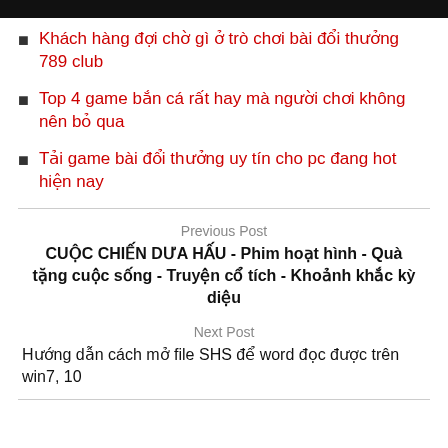Khách hàng đợi chờ gì ở trò chơi bài đổi thưởng 789 club
Top 4 game bắn cá rất hay mà người chơi không nên bỏ qua
Tải game bài đổi thưởng uy tín cho pc đang hot hiện nay
Previous Post
CUỘC CHIẾN DƯA HẤU - Phim hoạt hình - Quà tặng cuộc sống - Truyện cổ tích - Khoảnh khắc kỳ diệu
Next Post
Hướng dẫn cách mở file SHS để word đọc được trên win7, 10